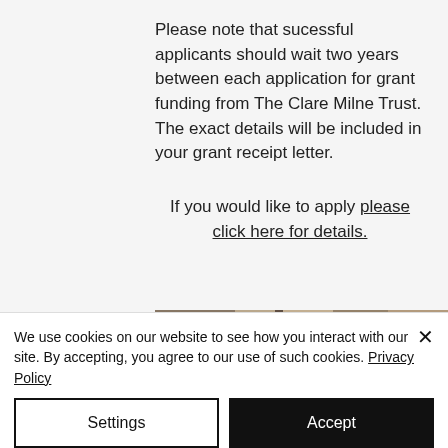Please note that sucessful applicants should wait two years between each application for grant funding from The Clare Milne Trust. The exact details will be included in your grant receipt letter.
If you would like to apply please click here for details.
[Figure (photo): A partial photo strip showing a building or architectural scene, partially cropped at the bottom of the main content area.]
We use cookies on our website to see how you interact with our site. By accepting, you agree to our use of such cookies. Privacy Policy